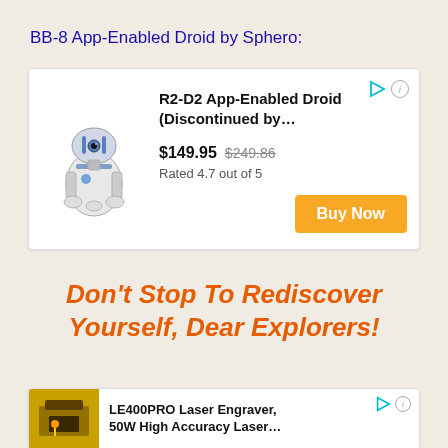BB-8 App-Enabled Droid by Sphero:
[Figure (screenshot): Ad card for R2-D2 App-Enabled Droid (Discontinued by...) priced at $149.95 (was $249.86), Rated 4.7 out of 5, with Buy Now button]
Don't Stop To Rediscover Yourself, Dear Explorers!
[Figure (screenshot): Ad card for LE400PRO Laser Engraver, 50W High Accuracy Laser...]